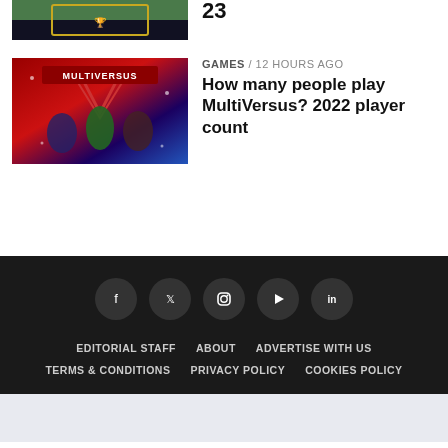23
[Figure (photo): MultiVersus game promotional image with characters]
GAMES / 12 hours ago
How many people play MultiVersus? 2022 player count
Social icons: Facebook, Twitter, Instagram, YouTube, LinkedIn. Links: EDITORIAL STAFF, ABOUT, ADVERTISE WITH US, TERMS & CONDITIONS, PRIVACY POLICY, COOKIES POLICY